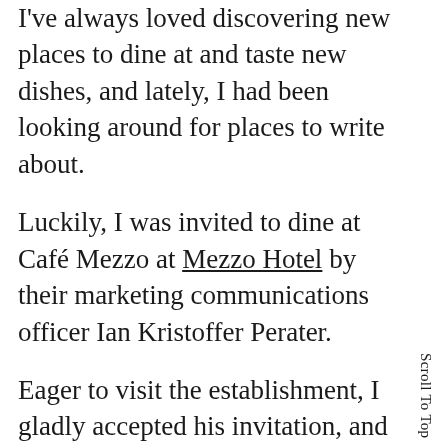I've always loved discovering new places to dine at and taste new dishes, and lately, I had been looking around for places to write about.
Luckily, I was invited to dine at Café Mezzo at Mezzo Hotel by their marketing communications officer Ian Kristoffer Perater.
Eager to visit the establishment, I gladly accepted his invitation, and lunch turned out to be a mix of Asian and European-inspired dishes.
Scroll To Top